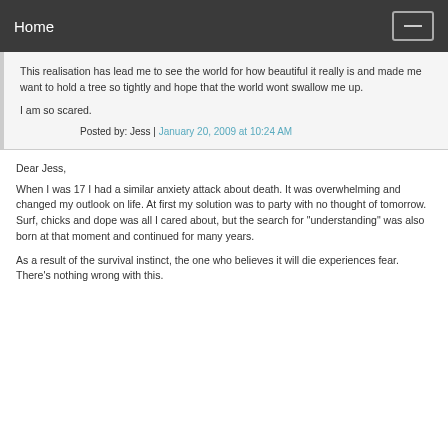Home
This realisation has lead me to see the world for how beautiful it really is and made me want to hold a tree so tightly and hope that the world wont swallow me up.
I am so scared.
Posted by: Jess | January 20, 2009 at 10:24 AM
Dear Jess,
When I was 17 I had a similar anxiety attack about death. It was overwhelming and changed my outlook on life. At first my solution was to party with no thought of tomorrow. Surf, chicks and dope was all I cared about, but the search for "understanding" was also born at that moment and continued for many years.
As a result of the survival instinct, the one who believes it will die experiences fear. There's nothing wrong with this.